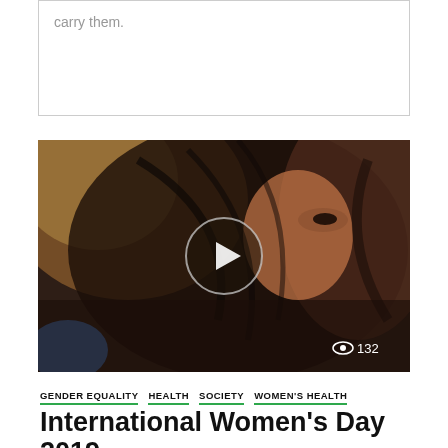carry them.
[Figure (photo): Close-up photo of a woman with dark hair covering her face, with a circular play button overlay and a view count of 132 in the bottom right corner.]
GENDER EQUALITY   HEALTH   SOCIETY   WOMEN'S HEALTH
International Women's Day 2019